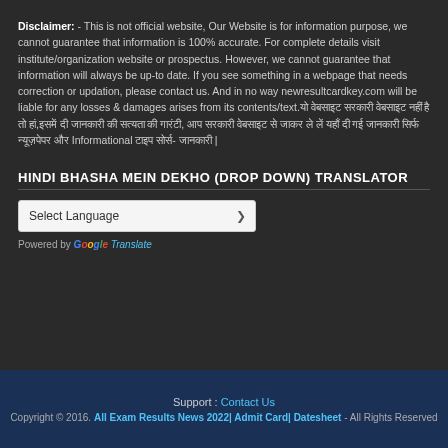Disclaimer: - This is not official website, Our Website is for information purpose, we cannot guarantee that information is 100% accurate. For complete details visit institute/organization website or prospectus. However, we cannot guarantee that information will always be up-to date. If you see something in a webpage that needs correction or updation, please contact us. And in no way newresultcardkey.com will be liable for any losses & damages arises from its contents/text.यो वेबसाइट सरकारी वेबसाइट नहीं है तो हां,इसमें दी जानकारी की सत्यता की गारंटी, आप सरकारी वेबसाइट से जाकर ले लें यहाँ दी गई जानकारी सिर्फ न्यूज़पेपर और Informational टाइप सोर्स- जानकारी |
HINDI BHASHA MEIN DEKHO (DROP DOWN) TRANSLATOR
[Figure (screenshot): Google Translate language selector dropdown showing 'Select Language' with a dropdown arrow, and 'Powered by Google Translate' text below.]
Support : Contact Us
Copyright © 2016. All Exam Results News 2022| Admit Card| Datesheet - All Rights Reserved